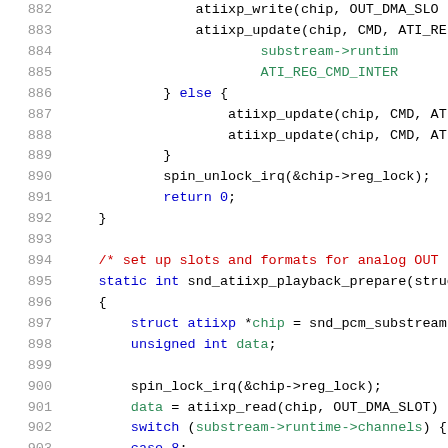[Figure (screenshot): Source code listing (C language) showing lines 882-903 of a kernel/driver file. Lines include atiixp_update and atiixp_write calls, spin_unlock_irq, return 0, closing brace, a comment about analog OUT, static int snd_atiixp_playback_prepare function definition, struct and unsigned int declarations, spin_lock_irq, atiixp_read, switch statement, and case 8.]